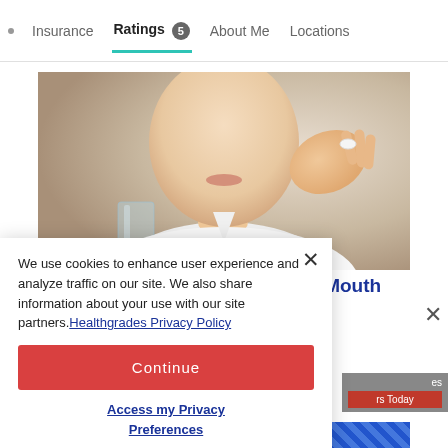Insurance  Ratings 5  About Me  Locations
[Figure (photo): Man in white shirt holding a pill between his fingers and a glass of water, preparing to take medication]
10 Medications That Cause Dry Mouth
We use cookies to enhance user experience and analyze traffic on our site. We also share information about your use with our site partners. Healthgrades Privacy Policy
Continue
Access my Privacy Preferences